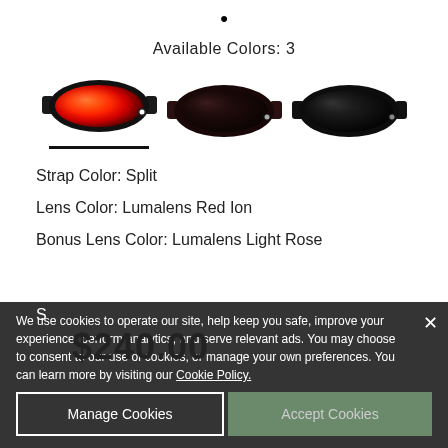•
Available Colors: 3
[Figure (photo): Three ski/snowboard goggles shown side by side: first with orange-red mirror lens, second with dark lens and dark red strap, third with black lens and black strap. A black underline appears below the first goggle.]
Strap Color: Split
Lens Color: Lumalens Red Ion
Bonus Lens Color: Lumalens Light Rose
S...
$240.00
We use cookies to operate our site, help keep you safe, improve your experience, perform analytics, and serve relevant ads. You may choose to consent to our use of cookies, or manage your own preferences. You can learn more by visiting our Cookie Policy.
Manage Cookies
Accept Cookies